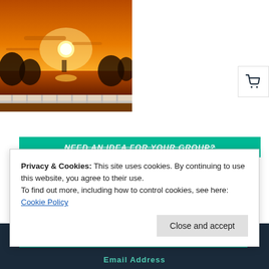[Figure (photo): Sunset over water with silhouetted trees and a railing in the foreground, orange and golden sky]
[Figure (other): Shopping cart icon button in top-right area]
NEED AN IDEA FOR YOUR GROUP?
Privacy & Cookies: This site uses cookies. By continuing to use this website, you agree to their use.
To find out more, including how to control cookies, see here: Cookie Policy
Close and accept
SIGN UP FOR OUR NEWSLETTER
Email Address